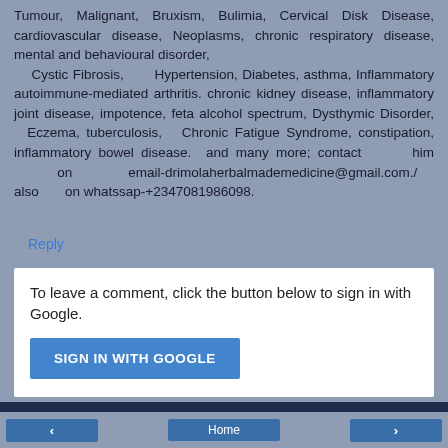Tumour, Malignant, Bruxism, Bulimia, Cervical Disk Disease, cardiovascular disease, Neoplasms, chronic respiratory disease, mental and behavioural disorder, Cystic Fibrosis, Hypertension, Diabetes, asthma, Inflammatory autoimmune-mediated arthritis. chronic kidney disease, inflammatory joint disease, impotence, feta alcohol spectrum, Dysthymic Disorder, Eczema, tuberculosis, Chronic Fatigue Syndrome, constipation, inflammatory bowel disease. and many more; contact him on email-drimolaherbalmademedicine@gmail.com./ also on whatssap-+2347081986098.
Reply
To leave a comment, click the button below to sign in with Google.
SIGN IN WITH GOOGLE